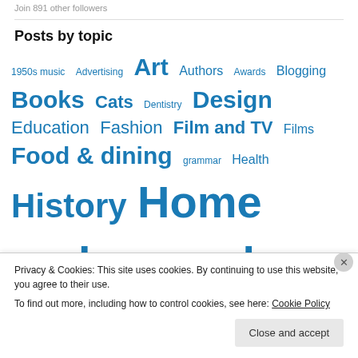Join 891 other followers
Posts by topic
1950s music  Advertising  Art  Authors  Awards  Blogging  Books  Cats  Dentistry  Design  Education  Fashion  Film and TV  Films  Food & dining  grammar  Health  History  Home and around  Journalism  Letters  Media  Music  New Zealand  Nostalgia  Peace
Privacy & Cookies: This site uses cookies. By continuing to use this website, you agree to their use.
To find out more, including how to control cookies, see here: Cookie Policy